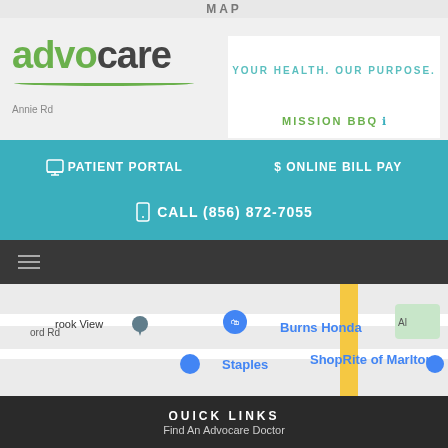MAP
[Figure (logo): Advocare logo with green and dark text, tagline YOUR HEALTH. OUR PURPOSE.]
[Figure (screenshot): Google Maps view showing Burns Honda, ShopRite of Marlton, Staples locations near Marlton NJ]
PATIENT PORTAL
$ ONLINE BILL PAY
CALL (856) 872-7055
QUICK LINKS
Find An Advocare Doctor
Patient Portal
Online Bill Pay
Become an Advocare Physician
Careers
TOP